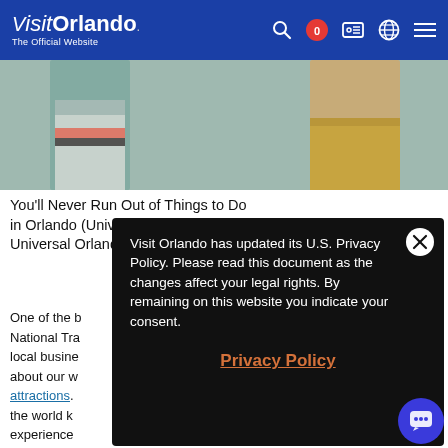Visit Orlando — The Official Website
[Figure (photo): Partial lower-body view of people at a water park, one in board shorts and one in a gold/glitter swimsuit]
You'll Never Run Out of Things to Do in Orlando (Universal's Volcano Bay at Universal Orlando Resort Pictured)
One of the [obscured] National Tra[obscured] local busine[obscured] about our w[obscured] attractions.[obscured] the world k[obscured] experience[obscured]
Visit Orlando has updated its U.S. Privacy Policy. Please read this document as the changes affect your legal rights. By remaining on this website you indicate your consent.
Privacy Policy